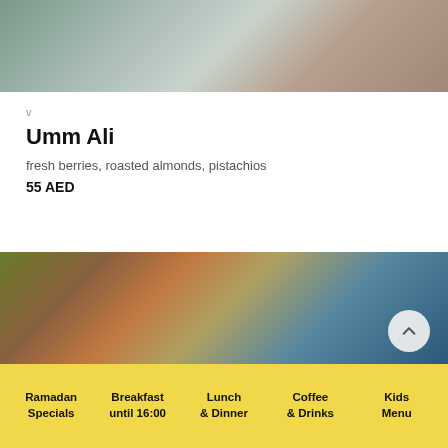[Figure (photo): Blurred food photo, top portion of page, muted greens and browns]
v
Umm Ali
fresh berries, roasted almonds, pistachios
55 AED
[Figure (photo): Blurred food photo with warm orange-brown and teal tones, with a circular scroll-up button]
Ramadan Specials | Breakfast until 16:00 | Lunch & Dinner | Coffee & Drinks | Kids Menu